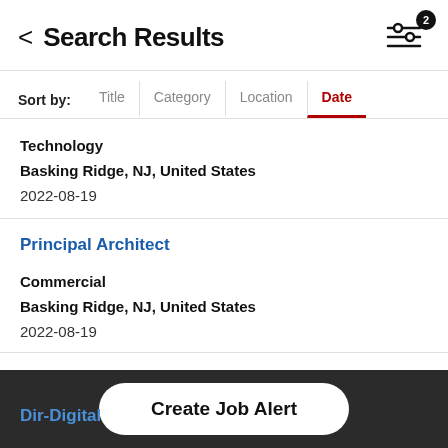Search Results
Sort by: Title | Category | Location | Date
Technology
Basking Ridge, NJ, United States
2022-08-19
Principal Architect
Commercial
Basking Ridge, NJ, United States
2022-08-19
Dir-Digital
Create Job Alert